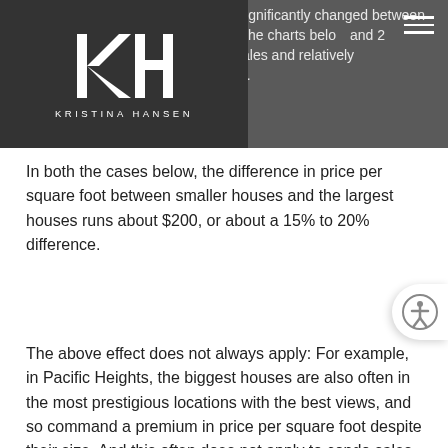the average size of the houses sold significantly changed between the two, which happens sometimes. The charts below and 2 districts with both a good number sales and relatively homogenous values within the district.
[Figure (logo): Kristina Hansen logo with KH monogram on dark background]
In both the cases below, the difference in price per square foot between smaller houses and the largest houses runs about $200, or about a 15% to 20% difference.
The above effect does not always apply: For example, in Pacific Heights, the biggest houses are also often in the most prestigious locations with the best views, and so command a premium in price per square foot despite their size. And this often does not apply to condo sales, because bigger units are often built higher up in the building, with more expensive finishes, delivering better (or